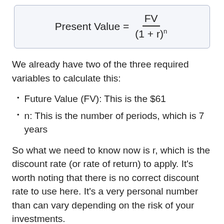We already have two of the three required variables to calculate this:
Future Value (FV): This is the $61
n: This is the number of periods, which is 7 years
So what we need to know now is r, which is the discount rate (or rate of return) to apply. It's worth noting that there is no correct discount rate to use here. It's a very personal number than can vary depending on the risk of your investments.
For example, if you invest in the market and you